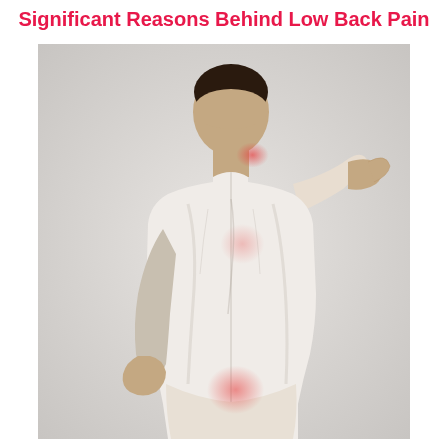Significant Reasons Behind Low Back Pain
[Figure (photo): A person viewed from behind wearing a white t-shirt, holding their lower back and neck with both hands, with red highlighted areas indicating pain zones at the neck/upper back and lower back regions. The background is light gray.]